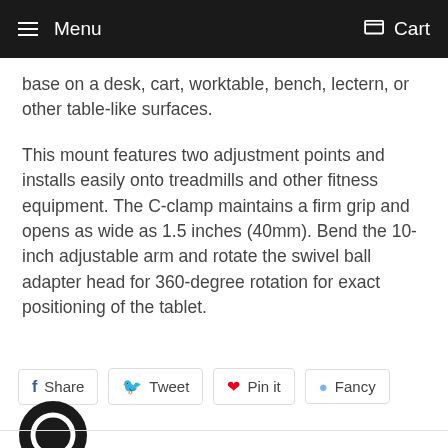Menu  Cart
base on a desk, cart, worktable, bench, lectern, or other table-like surfaces.
This mount features two adjustment points and installs easily onto treadmills and other fitness equipment. The C-clamp maintains a firm grip and opens as wide as 1.5 inches (40mm). Bend the 10-inch adjustable arm and rotate the swivel ball adapter head for 360-degree rotation for exact positioning of the tablet.
Share  Tweet  Pin it  Fancy